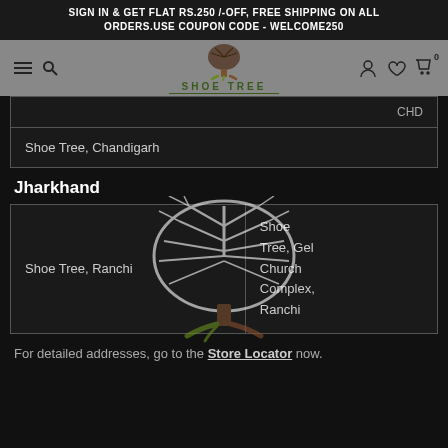SIGN IN & GET FLAT RS.250 /-OFF, FREE SHIPPING ON ALL ORDERS.USE COUPON CODE - WELCOME250
[Figure (logo): Shoe Tree logo with tree illustration and text SHOE TREE]
|  | CHD |
| Shoe Tree, Chandigarh |  |
Jharkhand
| Shoe Tree, Ranchi | Shoe Tree, Gel Church Complex, Ranchi |
For detailed addresses, go to the Store Locator now.